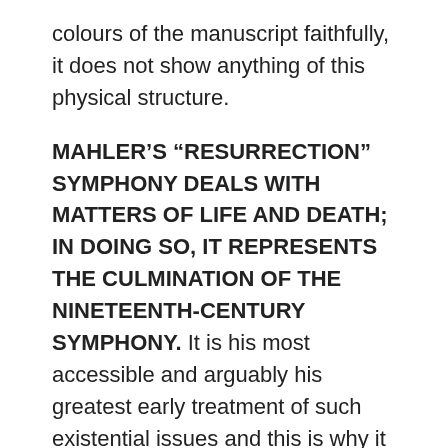colours of the manuscript faithfully, it does not show anything of this physical structure.
MAHLER'S “RESURRECTION” SYMPHONY DEALS WITH MATTERS OF LIFE AND DEATH; IN DOING SO, IT REPRESENTS THE CULMINATION OF THE NINETEENTH-CENTURY SYMPHONY. It is his most accessible and arguably his greatest early treatment of such existential issues and this is why it has always been among his most popular works. Mahler was following a great tradition, building on the expansion of the form achieved by Beethoven in his Ninth; that work also concluded with a great choral finale, expressing Schiller’s humanist Ode to Joy, and linking all the movements. These innovations were developed by Berlioz and Liszt to express mortal, supernatural, diabolic and mystical concepts. Mahler was fully aware that this continual development and expansion of the symphony went hand in hand with the desire to express